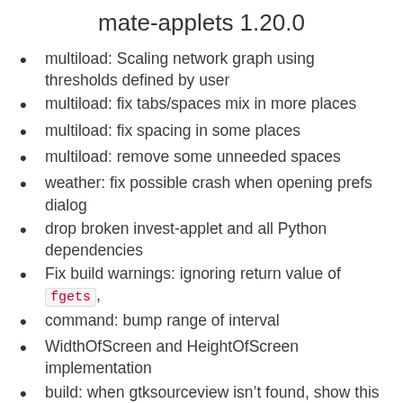mate-applets 1.20.0
multiload: Scaling network graph using thresholds defined by user
multiload: fix tabs/spaces mix in more places
multiload: fix spacing in some places
multiload: remove some unneeded spaces
weather: fix possible crash when opening prefs dialog
drop broken invest-applet and all Python dependencies
Fix build warnings: ignoring return value of fgets ,
command: bump range of interval
WidthOfScreen and HeightOfScreen implementation
build: when gtksourceview isn’t found, show this package name
Cpufreq: Update tooltips with